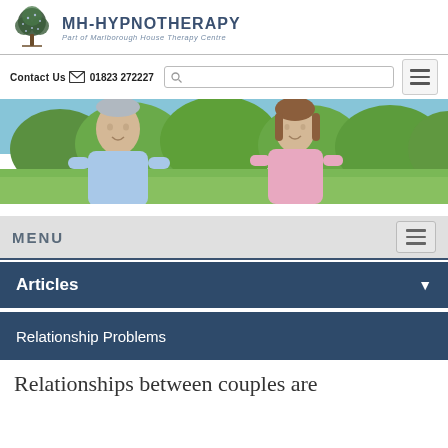MH-HYPNOTHERAPY — Part of Marlborough House Therapy Centre
Contact Us  01823 272227
[Figure (photo): Middle-aged couple smiling, man in blue shirt, woman in pink shirt, outdoors with green trees in background]
MENU
Articles
Relationship Problems
Relationships between couples are